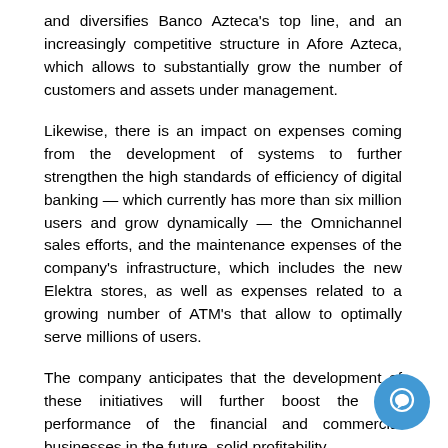and diversifies Banco Azteca's top line, and an increasingly competitive structure in Afore Azteca, which allows to substantially grow the number of customers and assets under management.
Likewise, there is an impact on expenses coming from the development of systems to further strengthen the high standards of efficiency of digital banking — which currently has more than six million users and grow dynamically — the Omnichannel sales efforts, and the maintenance expenses of the company's infrastructure, which includes the new Elektra stores, as well as expenses related to a growing number of ATM's that allow to optimally serve millions of users.
The company anticipates that the development of these initiatives will further boost the firm performance of the financial and commercial businesses in the future, solid profitability.